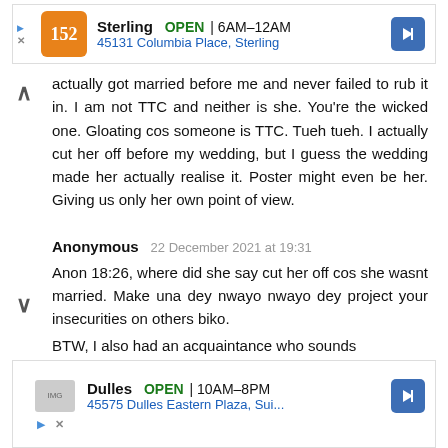[Figure (infographic): Ad banner for Sterling location: OPEN 6AM-12AM, 45131 Columbia Place, Sterling]
actually got married before me and never failed to rub it in. I am not TTC and neither is she. You're the wicked one. Gloating cos someone is TTC. Tueh tueh. I actually cut her off before my wedding, but I guess the wedding made her actually realise it. Poster might even be her. Giving us only her own point of view.
Anonymous 22 December 2021 at 19:31
Anon 18:26, where did she say cut her off cos she wasnt married. Make una dey nwayo nwayo dey project your insecurities on others biko. BTW, I also had an acquaintance who sounds
[Figure (infographic): Ad banner for Dulles location: OPEN 10AM-8PM, 45575 Dulles Eastern Plaza, Sui...]